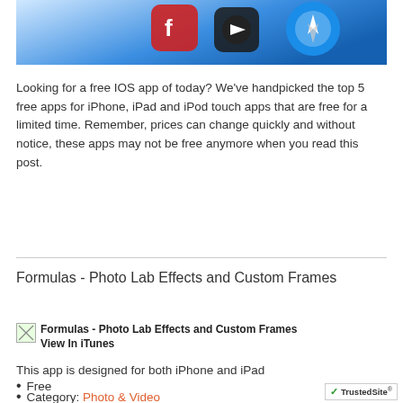[Figure (screenshot): Banner image showing colorful app icons including a video/photo editor and Safari-like icon on a blue gradient background]
Looking for a free IOS app of today? We've handpicked the top 5 free apps for iPhone, iPad and iPod touch apps that are free for a limited time. Remember, prices can change quickly and without notice, these apps may not be free anymore when you read this post.
Formulas - Photo Lab Effects and Custom Frames
[Figure (illustration): Small broken image icon placeholder for Formulas - Photo Lab Effects and Custom Frames app icon]
Formulas - Photo Lab Effects and Custom Frames
View In iTunes
This app is designed for both iPhone and iPad
Free
Category: Photo & Video
Updated: Jul 11, 2015